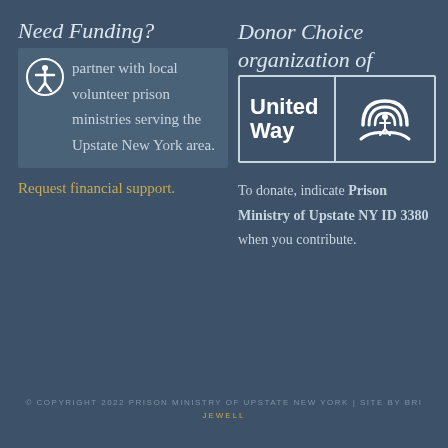Need Funding?
partner with local volunteer prison ministries serving the Upstate New York area.
Request financial support.
Donor Choice organization of
[Figure (logo): United Way logo with text 'United Way' on the left and the United Way rainbow/hands icon on the right, inside a bordered box]
To donate, indicate Prison Ministry of Upstate NY ID 3380 when you contribute.
© COPYRIGHT 2022 PRISON MINISTRY OF UPSTATE NEW YORK | SITE BY BRI JEWELL